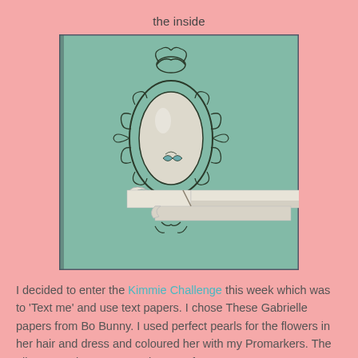the inside
[Figure (photo): A teal/green square card showing a decorative ornate mirror frame stamp with an oval mirror center, and a ribbon banner element extending to the right side of the card.]
I decided to enter the Kimmie Challenge this week which was to 'Text me' and use text papers. I chose These Gabrielle papers from Bo Bunny. I used perfect pearls for the flowers in her hair and dress and coloured her with my Promarkers. The glittery numbers are American Craft